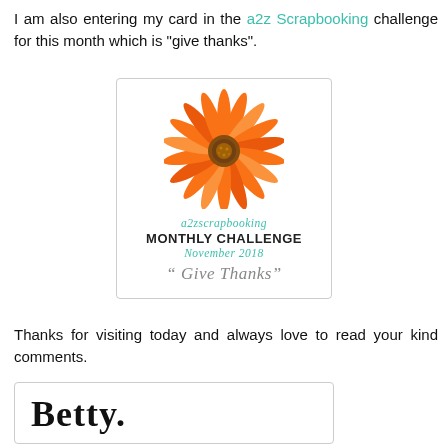I am also entering my card in the a2z Scrapbooking challenge for this month which is "give thanks".
[Figure (illustration): a2z Scrapbooking Monthly Challenge badge for November 2018 with an orange gerbera daisy flower at top and text 'a2zscrapbooking MONTHLY CHALLENGE November 2018 "Give Thanks"']
Thanks for visiting today and always love to read your kind comments.
[Figure (illustration): Handwritten signature reading 'Betty' in cursive script inside a rounded rectangle border]